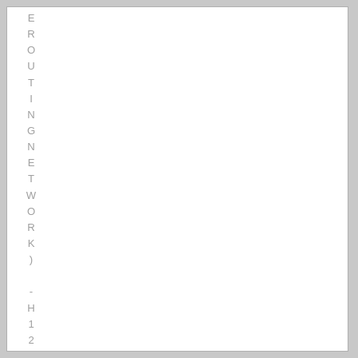EROUTINGNETWORK)-H12-221HUAWEI